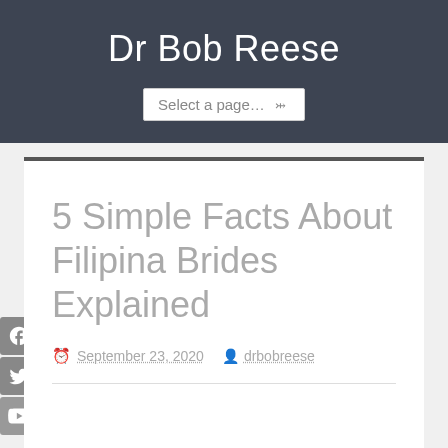Dr Bob Reese
5 Simple Facts About Filipina Brides Explained
September 23, 2020   drbobreese